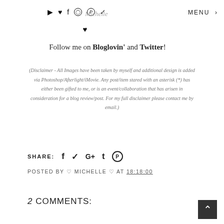▶ ♥ f ◯ ⓟ ✔  Michelle  MENU
♥
Follow me on Bloglovin' and Twitter!
(Disclaimer - All Images have been taken by myself and additional design is added via Photoshop/Afterlight/iMovie. Any post/item stared with an asterisk (*) has either been gifted to me, or is an event/collaboration that has arisen in consideration for a blog review/post. For my full disclaimer please contact me by email.)
SHARE: f ✔ G+ t ⓟ
POSTED BY ♡ MICHELLE ♡ AT 18:18:00
2 COMMENTS: